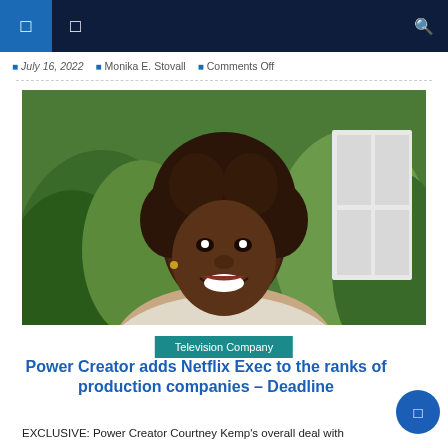Navigation header bar with icons
July 16, 2022  Monika E. Stovall  Comments Off
[Figure (photo): Portrait photo of a smiling Black woman with natural curly hair, wearing a white top, with green plants and a white door in the background]
Television Company
Power Creator adds Netflix Exec to the ranks of production companies – Deadline
EXCLUSIVE: Power Creator Courtney Kemp's overall deal with